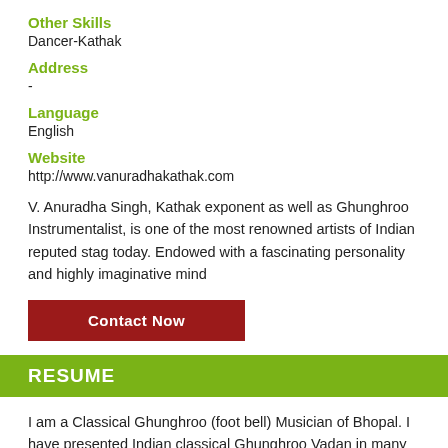Other Skills
Dancer-Kathak
Address
-
Language
English
Website
http://www.vanuradhakathak.com
V. Anuradha Singh, Kathak exponent as well as Ghunghroo Instrumentalist, is one of the most renowned artists of Indian reputed stag today. Endowed with a fascinating personality and highly imaginative mind
Contact Now
RESUME
I am a Classical Ghunghroo (foot bell) Musician of Bhopal. I have presented Indian classical Ghunghroo Vadan in many reputed pure music festivals across the country which is focusing solely on Classical foot percussive art (durlabh vadan rare recital of foot percussion Ghunghroo intact with hand percussion, tabla